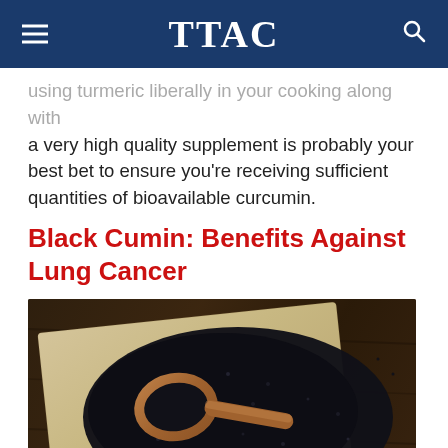TTAC
Using turmeric liberally in your cooking along with a very high quality supplement is probably your best bet to ensure you're receiving sufficient quantities of bioavailable curcumin.
Black Cumin: Benefits Against Lung Cancer
[Figure (photo): Overhead photo of black cumin seeds piled on a burlap cloth on a dark wooden surface, with a wooden spoon resting in the seeds]